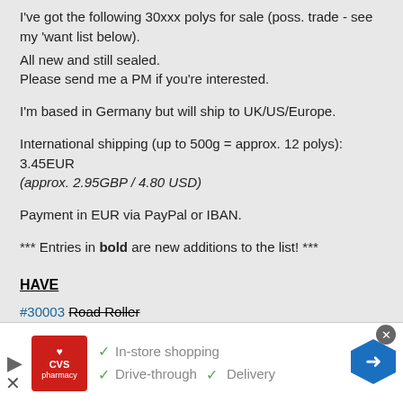I've got the following 30xxx polys for sale (poss. trade - see my 'want list below).
All new and still sealed.
Please send me a PM if you're interested.
I'm based in Germany but will ship to UK/US/Europe.
International shipping (up to 500g = approx. 12 polys): 3.45EUR (approx. 2.95GBP / 4.80 USD)
Payment in EUR via PayPal or IBAN.
*** Entries in bold are new additions to the list! ***
HAVE
#30003 Road Roller
#30015 Jet Ski
[Figure (screenshot): CVS Pharmacy advertisement banner at the bottom with logo, checkmarks for In-store shopping, Drive-through, and Delivery, and a blue navigation arrow icon.]